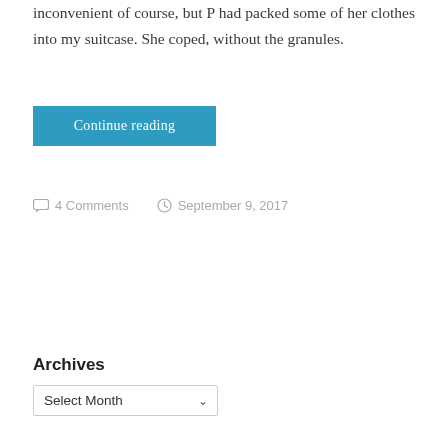inconvenient of course, but P had packed some of her clothes into my suitcase. She coped, without the granules.
Continue reading
4 Comments  September 9, 2017
Archives
Select Month